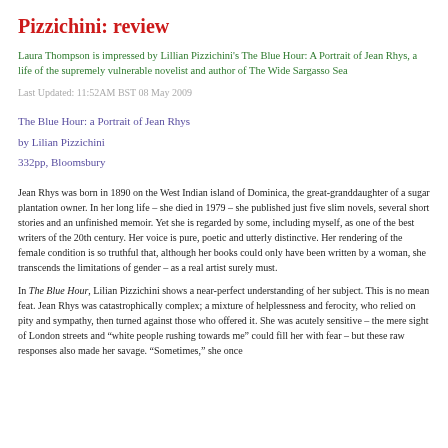Pizzichini: review
Laura Thompson is impressed by Lillian Pizzichini's The Blue Hour: A Portrait of Jean Rhys, a life of the supremely vulnerable novelist and author of The Wide Sargasso Sea
Last Updated: 11:52AM BST 08 May 2009
The Blue Hour: a Portrait of Jean Rhys
by Lilian Pizzichini
332pp, Bloomsbury
Jean Rhys was born in 1890 on the West Indian island of Dominica, the great-granddaughter of a sugar plantation owner. In her long life – she died in 1979 – she published just five slim novels, several short stories and an unfinished memoir. Yet she is regarded by some, including myself, as one of the best writers of the 20th century. Her voice is pure, poetic and utterly distinctive. Her rendering of the female condition is so truthful that, although her books could only have been written by a woman, she transcends the limitations of gender – as a real artist surely must.
In The Blue Hour, Lilian Pizzichini shows a near-perfect understanding of her subject. This is no mean feat. Jean Rhys was catastrophically complex; a mixture of helplessness and ferocity, who relied on pity and sympathy, then turned against those who offered it. She was acutely sensitive – the mere sight of London streets and "white people rushing towards me" could fill her with fear – but these raw responses also made her savage. "Sometimes," she once